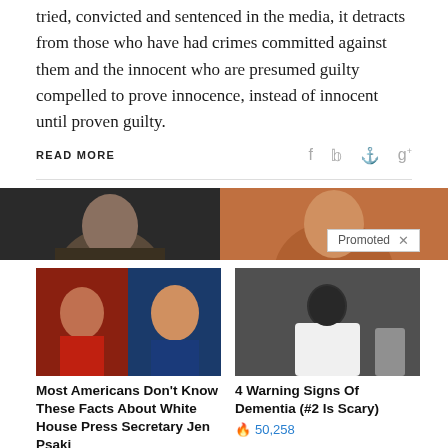tried, convicted and sentenced in the media, it detracts from those who have had crimes committed against them and the innocent who are presumed guilty compelled to prove innocence, instead of innocent until proven guilty.
READ MORE
[Figure (photo): Two side-by-side photos cropped at top: left shows a person with dark hair, right shows another person with a Promoted badge overlay]
[Figure (photo): Card image left: Two people (woman with red hair, man in suit) side by side]
Most Americans Don't Know These Facts About White House Press Secretary Jen Psaki
14,311
[Figure (photo): Card image right: Person sitting on bed, dementia-related article image]
4 Warning Signs Of Dementia (#2 Is Scary)
50,258